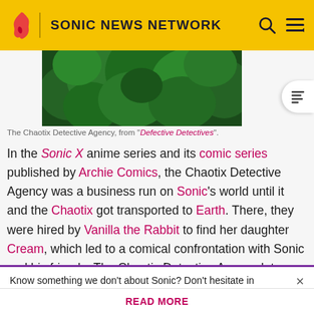SONIC NEWS NETWORK
[Figure (photo): Green forest foliage viewed from below, from the Sonic X episode Defective Detectives]
The Chaotix Detective Agency, from "Defective Detectives".
In the Sonic X anime series and its comic series published by Archie Comics, the Chaotix Detective Agency was a business run on Sonic's world until it and the Chaotix got transported to Earth. There, they were hired by Vanilla the Rabbit to find her daughter Cream, which led to a comical confrontation with Sonic and his friends. The Chaotix Detective Agency later returned to their world, where
Know something we don't about Sonic? Don't hesitate in signing up today! It's fast, free, and easy, and you will get a
READ MORE